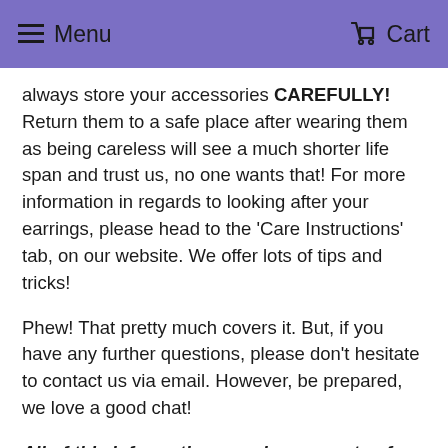Menu  Cart
always store your accessories CAREFULLY! Return them to a safe place after wearing them as being careless will see a much shorter life span and trust us, no one wants that! For more information in regards to looking after your earrings, please head to the 'Care Instructions' tab, on our website. We offer lots of tips and tricks!
Phew! That pretty much covers it. But, if you have any further questions, please don't hesitate to contact us via email. However, be prepared, we love a good chat!
All of this information remains property of Kenzie Collective. Anyone who is caught using this information directly will get a nice little email from our Legal team x